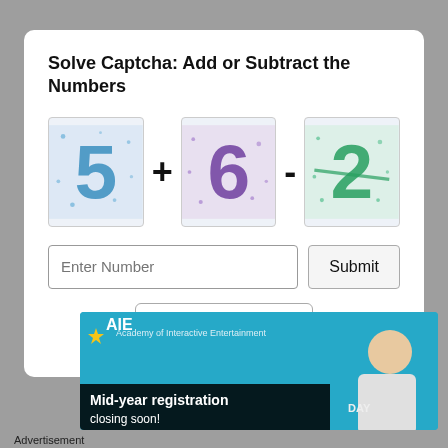Solve Captcha: Add or Subtract the Numbers
[Figure (illustration): CAPTCHA puzzle showing digit '5' in blue with dots, plus sign, digit '6' in purple with dots, minus sign, digit '2' in green with strikethrough style]
Enter Number
Submit
Refresh Captcha
[Figure (illustration): AIE advertisement banner: 'Mid-year registration closing soon!' with blue background and woman smiling]
Advertisement